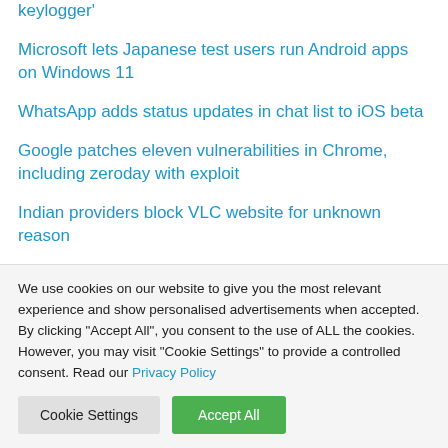keylogger'
Microsoft lets Japanese test users run Android apps on Windows 11
WhatsApp adds status updates in chat list to iOS beta
Google patches eleven vulnerabilities in Chrome, including zeroday with exploit
Indian providers block VLC website for unknown reason
Apple fixes with iOS 15.6.1 vulnerability that may have been actively exploited
We use cookies on our website to give you the most relevant experience and show personalised advertisements when accepted. By clicking "Accept All", you consent to the use of ALL the cookies. However, you may visit "Cookie Settings" to provide a controlled consent. Read our Privacy Policy